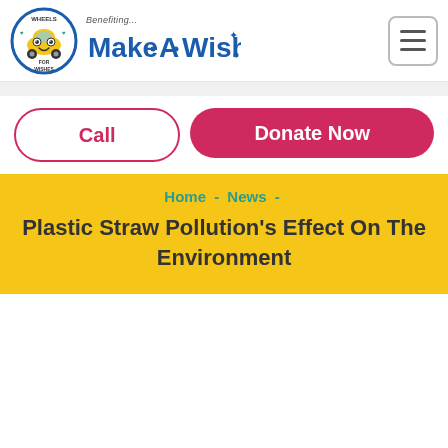[Figure (logo): Wheels for Wishes logo - circular badge with yellow car and blue border, text 'WHEELS FOR WISHES']
[Figure (logo): Make-A-Wish logo with 'Benefiting...' text above]
[Figure (other): Hamburger menu button (three horizontal lines in a rounded square)]
Call
Donate Now
Home  -  News  -
Plastic Straw Pollution's Effect On The Environment